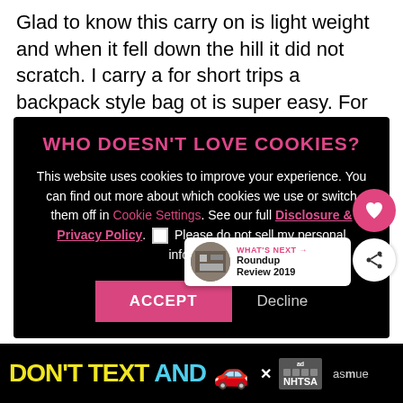Glad to know this carry on is light weight and when it fell down the hill it did not scratch. I carry a for short trips a backpack style bag ot is super easy. For longer trip I prefer cloth. But might be convinced to give this one a
[Figure (screenshot): Cookie consent modal overlay on dark background with title 'WHO DOESN'T LOVE COOKIES?', body text about cookie usage, links for Cookie Settings and Disclosure & Privacy Policy, checkbox for do not sell personal information, and ACCEPT / Decline buttons]
pretty cool bag. Like you, I carry a backpack too for my electronics. This is a carryon suitcase for
[Figure (screenshot): What's Next thumbnail showing a building image with text 'WHAT'S NEXT → Roundup Review 2019']
[Figure (screenshot): Advertisement banner at bottom: 'DON'T TEXT AND' with car emoji, ad badge, NHTSA logo, close button, and partial text 'as...rue']